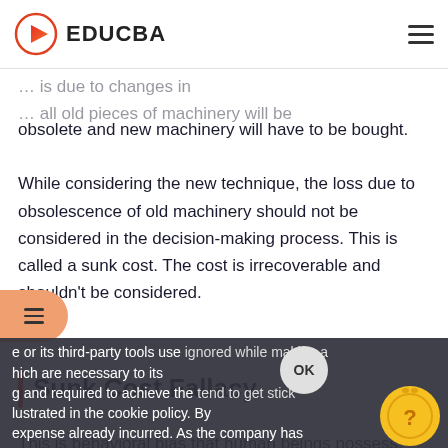EDUCBA
obsolete and new machinery will have to be bought. While considering the new technique, the loss due to obsolescence of old machinery should not be considered in the decision-making process. This is called a sunk cost. The cost is irrecoverable and shouldn't be considered.
Sunk Cost Fallacy
This is behavioral bias that human beings possess. Though sunk cost should be ignored while making a decision, human beings tend to get stick to the expense already incurred. As the company has
e or its third-party tools use cookies, which are necessary to its functioning and required to achieve the illustrated in the cookie policy. By